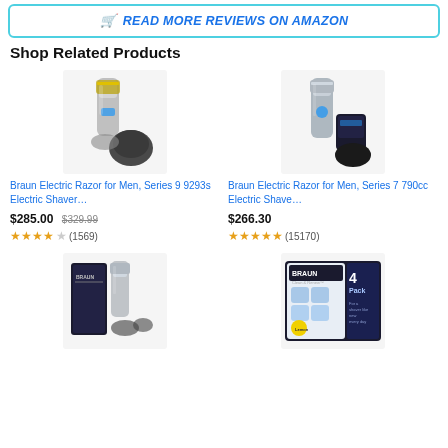🛒 READ MORE REVIEWS ON AMAZON
Shop Related Products
[Figure (photo): Braun electric razor for men Series 9 9293s product photo with case]
Braun Electric Razor for Men, Series 9 9293s Electric Shaver…
$285.00 $329.99
★★★★☆ (1569)
[Figure (photo): Braun electric razor for men Series 7 790cc product photo with cleaning station]
Braun Electric Razor for Men, Series 7 790cc Electric Shave…
$266.30
★★★★★ (15170)
[Figure (photo): Braun electric shaver product photo with case and accessories]
[Figure (photo): Braun Clean & Renew cartridges 4-pack product box]